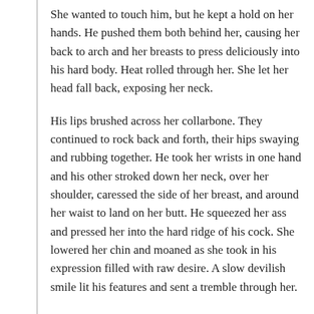She wanted to touch him, but he kept a hold on her hands. He pushed them both behind her, causing her back to arch and her breasts to press deliciously into his hard body. Heat rolled through her. She let her head fall back, exposing her neck.
His lips brushed across her collarbone. They continued to rock back and forth, their hips swaying and rubbing together. He took her wrists in one hand and his other stroked down her neck, over her shoulder, caressed the side of her breast, and around her waist to land on her butt. He squeezed her ass and pressed her into the hard ridge of his cock. She lowered her chin and moaned as she took in his expression filled with raw desire. A slow devilish smile lit his features and sent a tremble through her.